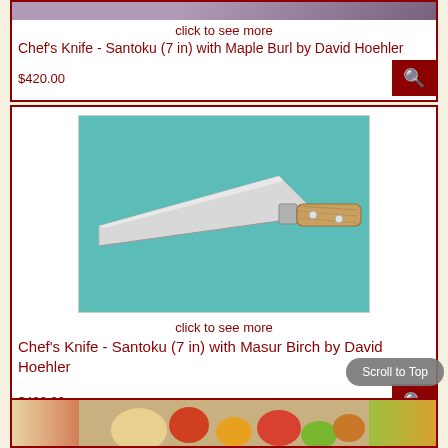[Figure (photo): Partial top of a knife product card showing purple/mauve background]
click to see more
Chef's Knife - Santoku (7 in) with Maple Burl by David Hoehler
$420.00
[Figure (photo): Santoku chef knife with wooden Masur Birch handle on teal background]
click to see more
Chef's Knife - Santoku (7 in) with Masur Birch by David Hoehler
$420.00
[Figure (photo): Partial bottom card showing vegetables and fruits on cutting board]